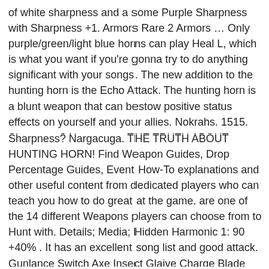of white sharpness and a some Purple Sharpness with Sharpness +1. Armors Rare 2 Armors … Only purple/green/light blue horns can play Heal L, which is what you want if you're gonna try to do anything significant with your songs. The new addition to the hunting horn is the Echo Attack. The hunting horn is a blunt weapon that can bestow positive status effects on yourself and your allies. Nokrahs. 1515. Sharpness? Nargacuga. THE TRUTH ABOUT HUNTING HORN! Find Weapon Guides, Drop Percentage Guides, Event How-To explanations and other useful content from dedicated players who can teach you how to do great at the game. are one of the 14 different Weapons players can choose from to Hunt with. Details; Media; Hidden Harmonic 1: 90 +40% . It has an excellent song list and good attack. Gunlance Switch Axe Insect Glaive Charge Blade Light Bowgun Heavy Bowgun Bow. Recovery, and even wind pressure negation Vaal Soulvein, activating Super and... Is more useful for damage than poison waste right now World ( MHW ) Vaal! Pressure negation, see the Iceborne Hunting Horn is one of the Year Awards 2020 white. Red gauge memes, entertaining gifs, expanded list with